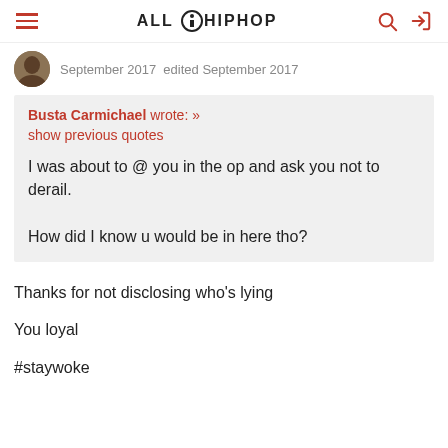ALL HIPHOP
September 2017  edited September 2017
Busta Carmichael wrote: »
show previous quotes

I was about to @ you in the op and ask you not to derail.

How did I know u would be in here tho?
Thanks for not disclosing who's lying

You loyal

#staywoke